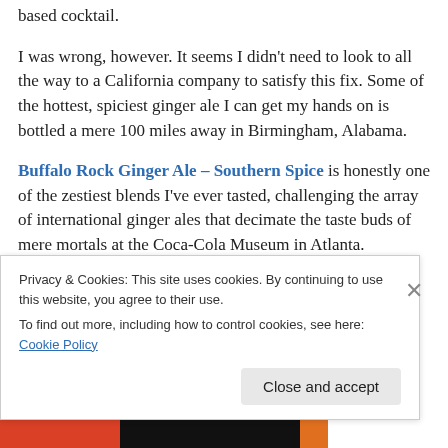based cocktail.
I was wrong, however. It seems I didn't need to look to all the way to a California company to satisfy this fix. Some of the hottest, spiciest ginger ale I can get my hands on is bottled a mere 100 miles away in Birmingham, Alabama.
Buffalo Rock Ginger Ale – Southern Spice is honestly one of the zestiest blends I've ever tasted, challenging the array of international ginger ales that decimate the taste buds of mere mortals at the Coca-Cola Museum in Atlanta.
(If you ever go there, you should totally mix the spiciest
Privacy & Cookies: This site uses cookies. By continuing to use this website, you agree to their use.
To find out more, including how to control cookies, see here: Cookie Policy
Close and accept